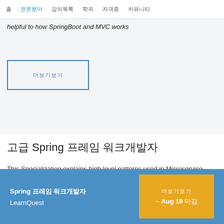홈   전문분야   강의   학위   자격증   커뮤니티
helpful to how SpringBoot and MVC works
더보기보기
고급 Spring 프레임 워크개발자
This Specialization explains high level patterns used in Microservice architectures and the motivation to move
Spring 프레임 워크개발자 LearnQuest  |  더보기보기  |  ~ Aug 19 무료